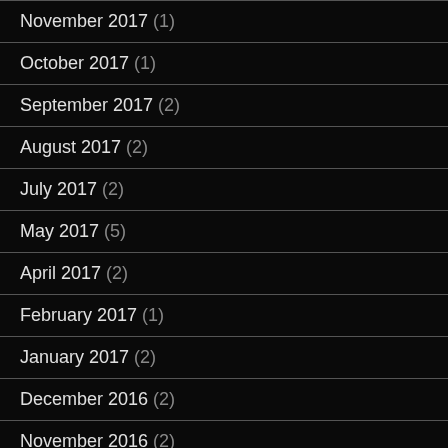November 2017 (1)
October 2017 (1)
September 2017 (2)
August 2017 (2)
July 2017 (2)
May 2017 (5)
April 2017 (2)
February 2017 (1)
January 2017 (2)
December 2016 (2)
November 2016 (2)
September 2016 (1)